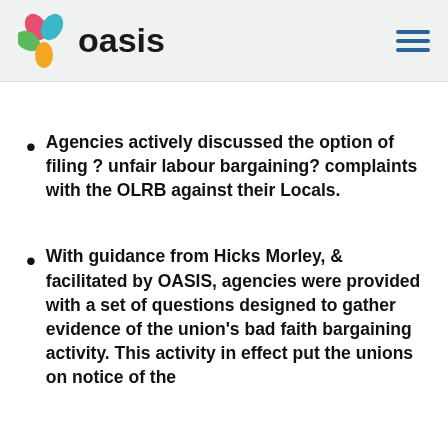oasis
Agencies actively discussed the option of filing ? unfair labour bargaining? complaints with the OLRB against their Locals.
With guidance from Hicks Morley, & facilitated by OASIS, agencies were provided with a set of questions designed to gather evidence of the union's bad faith bargaining activity. This activity in effect put the unions on notice of the